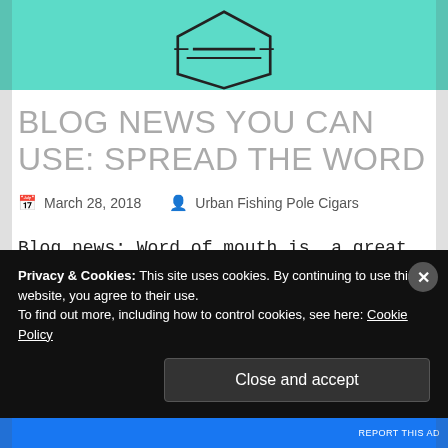[Figure (illustration): Teal hexagon logo illustration at the top of the blog page]
BLOG NEWS YOU CAN USE: SPREAD THE WORD
March 28, 2018   Urban Fishing Pole Cigars
Blog news: Word of mouth is  a great way to let people know that you exist. The same can be said about blogs. There is
Privacy & Cookies: This site uses cookies. By continuing to use this website, you agree to their use.
To find out more, including how to control cookies, see here: Cookie Policy
Close and accept